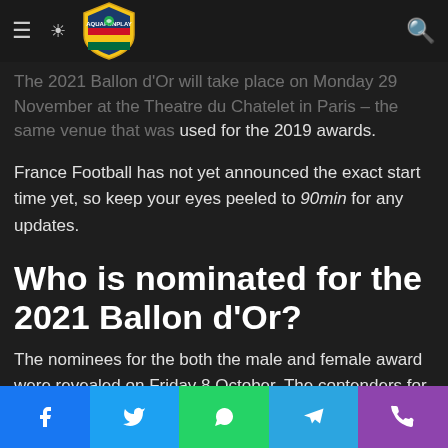AQUAFUNPLAY logo with hamburger menu, brightness icon, and search icon
The 2021 Ballon d'Or will take place on Monday 29 November at the Theatre du Chatelet in Paris – the same venue that was used for the 2019 awards.
France Football has not yet announced the exact start time yet, so keep your eyes peeled to 90min for any updates.
Who is nominated for the 2021 Ballon d'Or?
The nominees for the both the male and female award were revealed on Friday 8 October. The contenders for the 2021 Yashin Trophy, awarded for best goalkeeper, and the 2021
Facebook | Twitter | WhatsApp | Telegram | Phone